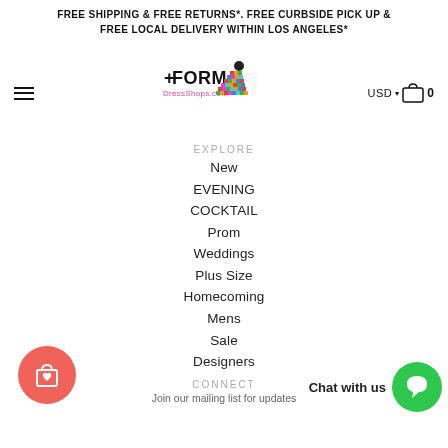FREE SHIPPING & FREE RETURNS*. FREE CURBSIDE PICK UP & FREE LOCAL DELIVERY WITHIN LOS ANGELES*
[Figure (logo): FormalDressShops.com logo with stylized woman in colorful gown]
EXPLORE
New
EVENING
COCKTAIL
Prom
Weddings
Plus Size
Homecoming
Mens
Sale
Designers
CONNECT
Join our mailing list for updates